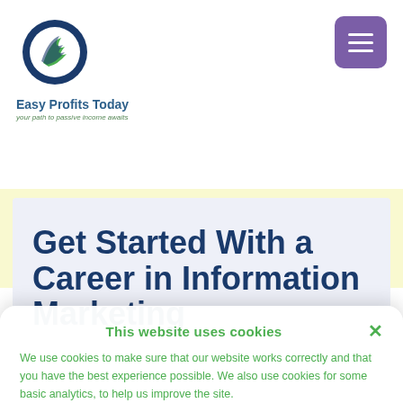[Figure (logo): Easy Profits Today logo — circular emblem with dark blue and green swoosh lines, with text 'Easy Profits Today' and tagline 'your path to passive income awaits']
Get Started With a Career in Information Marketing
This website uses cookies
We use cookies to make sure that our website works correctly and that you have the best experience possible. We also use cookies for some basic analytics, to help us improve the site.
Accept
Privacy Policy